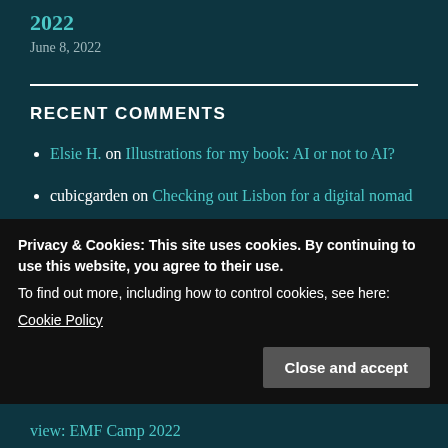2022
June 8, 2022
RECENT COMMENTS
Elsie H. on Illustrations for my book: AI or not to AI?
cubicgarden on Checking out Lisbon for a digital nomad
d...t (QD...t) on Checking out...
Privacy & Cookies: This site uses cookies. By continuing to use this website, you agree to their use.
To find out more, including how to control cookies, see here:
Cookie Policy
Close and accept
view: EMF Camp 2022